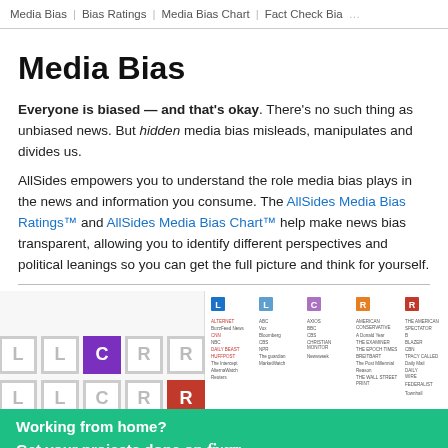Media Bias | Bias Ratings | Media Bias Chart | Fact Check Bias
Media Bias
Everyone is biased — and that's okay. There's no such thing as unbiased news. But hidden media bias misleads, manipulates and divides us.

AllSides empowers you to understand the role media bias plays in the news and information you consume. The AllSides Media Bias Ratings™ and AllSides Media Bias Chart™ help make news bias transparent, allowing you to identify different perspectives and political leanings so you can get the full picture and think for yourself.
[Figure (infographic): AllSides media bias ratings chart showing L, L, C, R, R rating boxes in two rows with some filled (purple C, red R) and others gray outlines]
[Figure (infographic): AllSides Media Bias Chart showing columns of news source logos organized from left to right by political leaning]
Working from home?
Get your projects done on fiverr